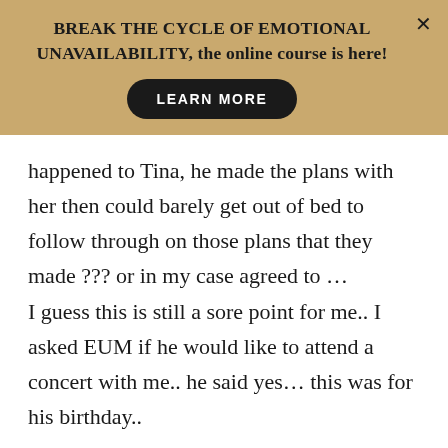BREAK THE CYCLE OF EMOTIONAL UNAVAILABILITY, the online course is here! LEARN MORE
happened to Tina, he made the plans with her then could barely get out of bed to follow through on those plans that they made ??? or in my case agreed to …
I guess this is still a sore point for me.. I asked EUM if he would like to attend a concert with me.. he said yes… this was for his birthday..